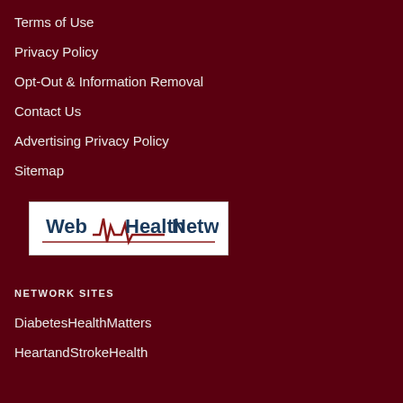Terms of Use
Privacy Policy
Opt-Out & Information Removal
Contact Us
Advertising Privacy Policy
Sitemap
[Figure (logo): Web Health Network logo with heartbeat line graphic]
NETWORK SITES
DiabetesHealthMatters
HeartandStrokeHealth